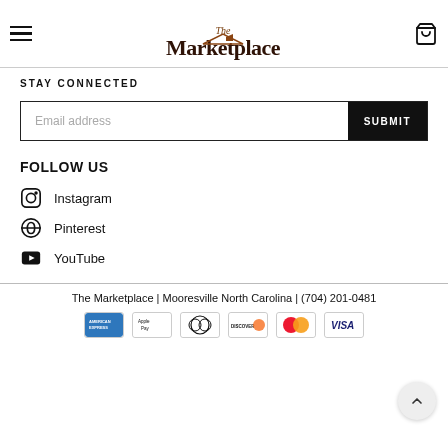The Marketplace — navigation header with hamburger menu and cart icon
STAY CONNECTED
Email address [input field] SUBMIT
FOLLOW US
Instagram
Pinterest
YouTube
The Marketplace | Mooresville North Carolina | (704) 201-0481
[Figure (infographic): Payment method icons: American Express, Apple Pay, Diners Club, Discover, Mastercard, Visa]